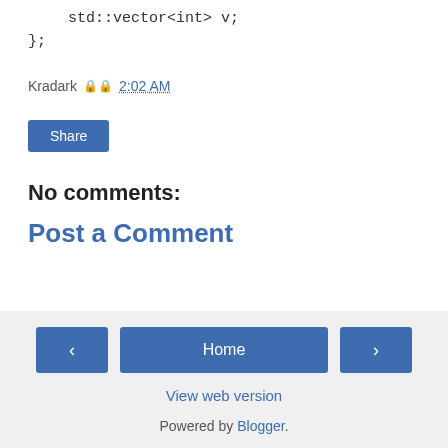std::vector<int> v;
};
Kradark 🔒 2:02 AM
Share
No comments:
Post a Comment
‹  Home  ›  View web version  Powered by Blogger.